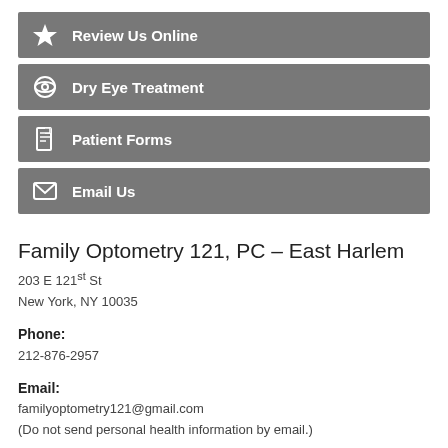Review Us Online
Dry Eye Treatment
Patient Forms
Email Us
Family Optometry 121, PC – East Harlem
203 E 121st St
New York, NY 10035
Phone:
212-876-2957
Email:
familyoptometry121@gmail.com
(Do not send personal health information by email.)